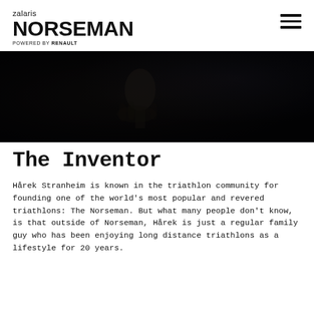zalaris NORSEMAN POWERED BY RENAULT
[Figure (photo): Dark photograph showing hands holding a microphone, very low exposure with dark tones throughout]
The Inventor
Hårek Stranheim is known in the triathlon community for founding one of the world's most popular and revered triathlons: The Norseman. But what many people don't know, is that outside of Norseman, Hårek is just a regular family guy who has been enjoying long distance triathlons as a lifestyle for 20 years.